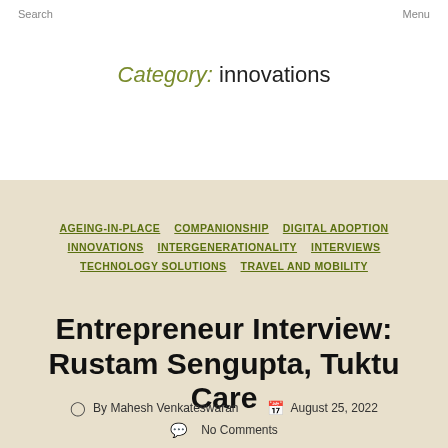Search   Menu
Category: innovations
AGEING-IN-PLACE  COMPANIONSHIP  DIGITAL ADOPTION  INNOVATIONS  INTERGENERATIONALITY  INTERVIEWS  TECHNOLOGY SOLUTIONS  TRAVEL AND MOBILITY
Entrepreneur Interview: Rustam Sengupta, Tuktu Care
By Mahesh Venkateswaran   August 25, 2022   No Comments